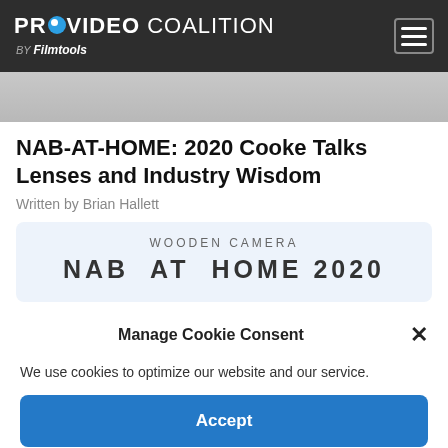PROVIDEO COALITION BY Filmtools
[Figure (photo): Gray banner image area (partially visible, cropped article image)]
NAB-AT-HOME: 2020 Cooke Talks Lenses and Industry Wisdom
Written by Brian Hallett
[Figure (photo): Wooden Camera NAB AT HOME 2020 advertisement banner with light blue background]
Manage Cookie Consent
We use cookies to optimize our website and our service.
Accept